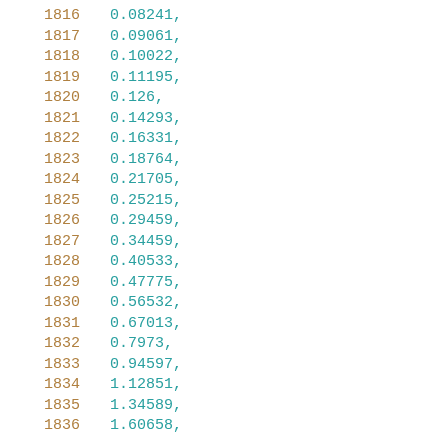1816    0.08241,
1817    0.09061,
1818    0.10022,
1819    0.11195,
1820    0.126,
1821    0.14293,
1822    0.16331,
1823    0.18764,
1824    0.21705,
1825    0.25215,
1826    0.29459,
1827    0.34459,
1828    0.40533,
1829    0.47775,
1830    0.56532,
1831    0.67013,
1832    0.7973,
1833    0.94597,
1834    1.12851,
1835    1.34589,
1836    1.60658,